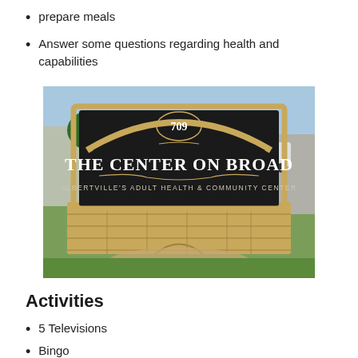prepare meals
Answer some questions regarding health and capabilities
[Figure (photo): Outdoor entrance sign for 'The Center on Broad – Albertville's Adult Health & Community Center', address 709, set in a stone masonry structure with landscaping in front.]
Activities
5 Televisions
Bingo